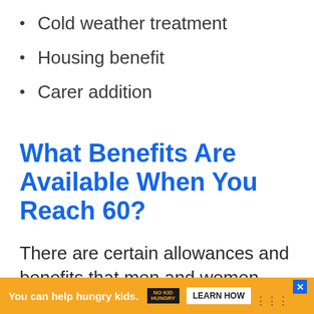Cold weather treatment
Housing benefit
Carer addition
What Benefits Are Available When You Reach 60?
There are certain allowances and benefits that men and women living in the UK may be eligible for once they reach the age of 60